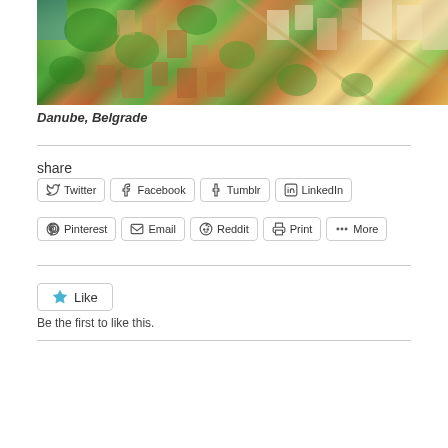[Figure (photo): Aerial view of Danube, Belgrade showing city buildings, trees, and waterfront from above]
Danube, Belgrade
share
Twitter Facebook Tumblr LinkedIn Pinterest Email Reddit Print More
Like
Be the first to like this.